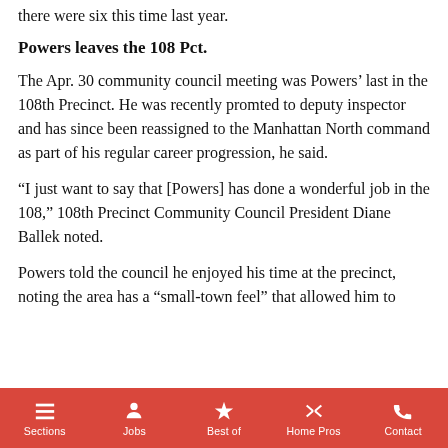there were six this time last year.
Powers leaves the 108 Pct.
The Apr. 30 community council meeting was Powers’ last in the 108th Precinct. He was recently promted to deputy inspector and has since been reassigned to the Manhattan North command as part of his regular career progression, he said.
“I just want to say that [Powers] has done a wonderful job in the 108,” 108th Precinct Community Council President Diane Ballek noted.
Powers told the council he enjoyed his time at the precinct, noting the area has a “small-town feel” that allowed him to
Sections  Jobs  Best of  Home Pros  Contact